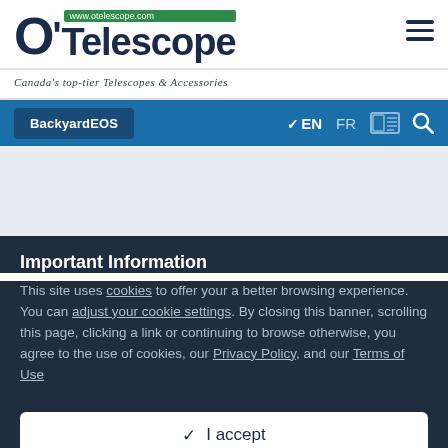[Figure (logo): O'Telescope logo with www.otelescope.com badge in green, dark navy text]
Canada's top-tier Telescopes & Accessories
BackkyardEOS  ✓ EN  FR  [news icon] [search icon]
Important Information
This site uses cookies to offer your a better browsing experience. You can adjust your cookie settings. By closing this banner, scrolling this page, clicking a link or continuing to browse otherwise, you agree to the use of cookies, our Privacy Policy, and our Terms of Use
✓  I accept